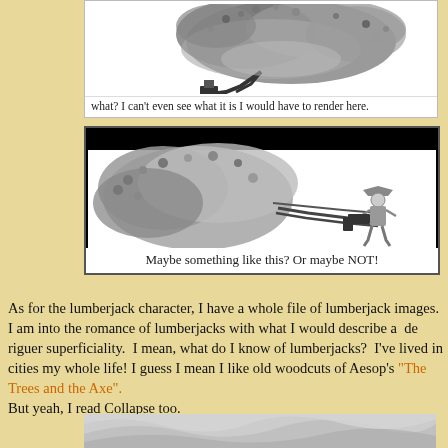[Figure (illustration): Black and white illustration of a large leafy tree branch or bush with dense foliage, partially cut off at top]
what?  I can't even see what it is I would have to render here.
[Figure (illustration): Black and white illustration in a bordered box with black header bar. Shows a leafy tree/bush on the left side and a small lumberjack figure on the right side.]
Maybe something like this?  Or maybe NOT!
As for the lumberjack character, I have a whole file of lumberjack images. I am into the romance of lumberjacks with what I would describe a  de riguer superficiality.  I mean, what do I know of lumberjacks?  I've lived in cities my whole life! I guess I mean I like old woodcuts of Aesop's "The Trees and the Axe".
But yeah, I read Collapse too.
[Figure (illustration): Grayscale swirling cloudy or smoky atmospheric image, partially visible at bottom of page]